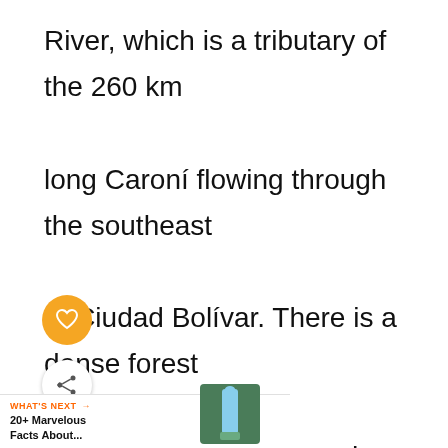River, which is a tributary of the 260 km long Caroní flowing through the southeast of Ciudad Bolívar. There is a dense forest surrounding the falls, and hence, if you want to get the best view, you need to take the aerial route. Here are some worth mentioning exciting facts about the natural landscape of the Angel Falls.
[Figure (other): Orange circular heart icon (like/favorite button)]
[Figure (other): White circular share/forward icon]
WHAT'S NEXT → 20+ Marvelous Facts About...